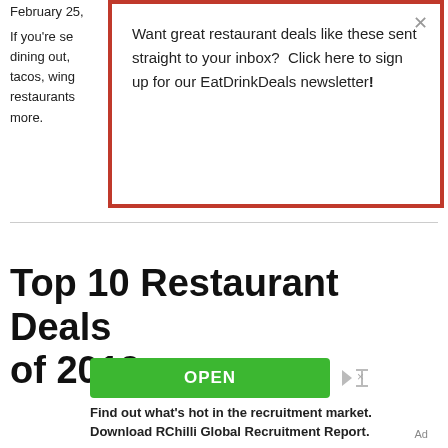February 25,
[Figure (screenshot): Modal popup with red border on white background. Text reads: 'Want great restaurant deals like these sent straight to your inbox? Click here to sign up for our EatDrinkDeals newsletter!' with an X close button.]
If you’re se dining out, tacos, wing restaurants more.
Top 10 Restaurant Deals of 2019
[Figure (screenshot): Advertisement showing a green OPEN button with ad icons (play and X), followed by bold text: 'Find out what’s hot in the recruitment market. Download RChilli Global Recruitment Report.' and an 'Ad' label in bottom right.]